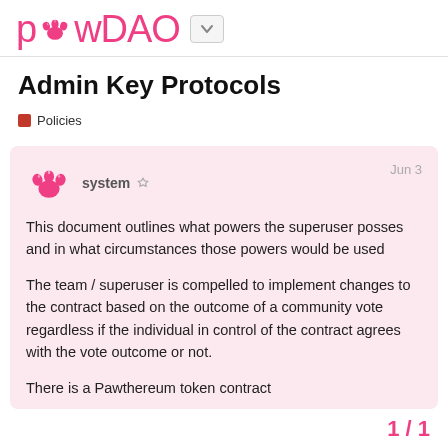PawDAO
Admin Key Protocols
Policies
system  Jun 3

This document outlines what powers the superuser posses and in what circumstances those powers would be used

The team / superuser is compelled to implement changes to the contract based on the outcome of a community vote regardless if the individual in control of the contract agrees with the vote outcome or not.

There is a Pawthereum token contract
1 / 1